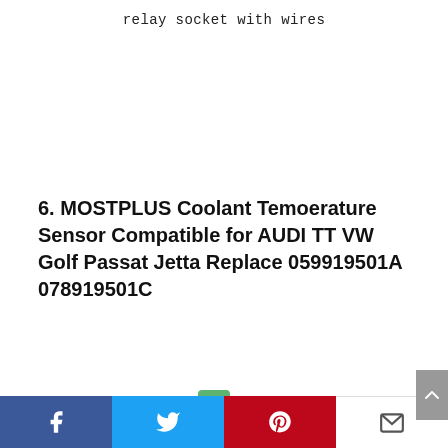relay socket with wires
6. MOSTPLUS Coolant Temoerature Sensor Compatible for AUDI TT VW Golf Passat Jetta Replace 059919501A 078919501C
[Figure (photo): MOSTPLUS coolant temperature sensor product photo — a green plastic connector body attached to a gold-colored threaded metal fitting with a pin, labeled with MOSTPLUS Part# M05605 191623]
Facebook | Twitter | Pinterest | Email